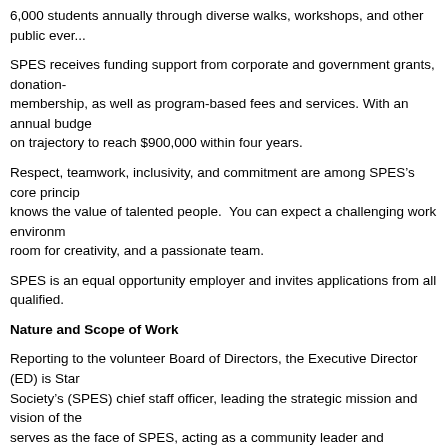6,000 students annually through diverse walks, workshops, and other public events.
SPES receives funding support from corporate and government grants, donations, membership, as well as program-based fees and services. With an annual budget on trajectory to reach $900,000 within four years.
Respect, teamwork, inclusivity, and commitment are among SPES's core principles. knows the value of talented people. You can expect a challenging work environment, room for creativity, and a passionate team.
SPES is an equal opportunity employer and invites applications from all qualified.
Nature and Scope of Work
Reporting to the volunteer Board of Directors, the Executive Director (ED) is Stanley Society's (SPES) chief staff officer, leading the strategic mission and vision of the. serves as the face of SPES, acting as a community leader and advocate, and as professional management team, staff, and volunteers. The ED collaborates closely with the Park Board and other stakeholders.
The SPES Board delegates responsibility for management and day-to-day operations. has the authority to carry out these responsibilities in accordance with the direction established by the Board. The ED provides assistance to enable the Board to carry out its functions.